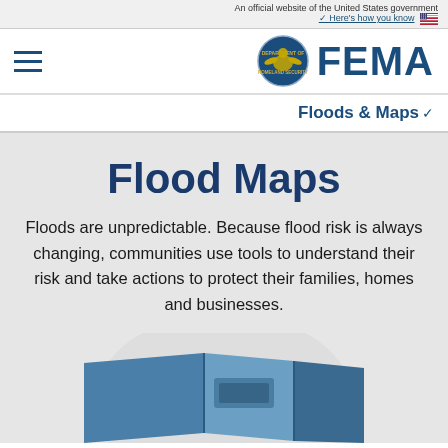An official website of the United States government. Here's how you know
[Figure (logo): FEMA logo with DHS seal and hamburger menu icon]
Floods & Maps
Flood Maps
Floods are unpredictable. Because flood risk is always changing, communities use tools to understand their risk and take actions to protect their families, homes and businesses.
[Figure (illustration): Partial illustration of a folded map with blue coloring at bottom of page]